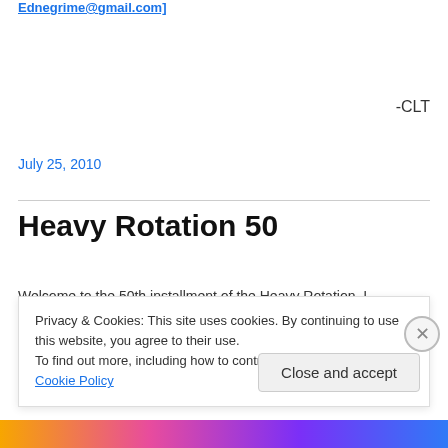Ednegrime@gmail.com]
-CLT
July 25, 2010
Heavy Rotation 50
Welcome to the 50th installment of the Heavy Rotation, I
Privacy & Cookies: This site uses cookies. By continuing to use this website, you agree to their use.
To find out more, including how to control cookies, see here: Cookie Policy
Close and accept